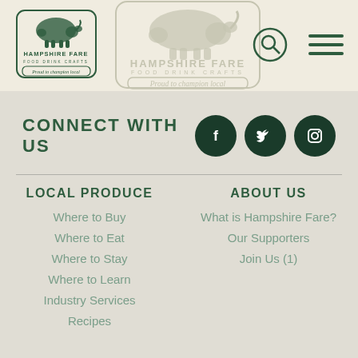[Figure (logo): Hampshire Fare logo - small version with pig illustration and text 'Hampshire Fare Food Drink Crafts - Proud to champion local']
[Figure (logo): Hampshire Fare logo - large watermark center version]
CONNECT WITH US
[Figure (illustration): Social media icons: Facebook, Twitter, Instagram as dark green circles]
LOCAL PRODUCE
ABOUT US
Where to Buy
What is Hampshire Fare?
Where to Eat
Our Supporters
Where to Stay
Join Us (1)
Where to Learn
Industry Services
Recipes